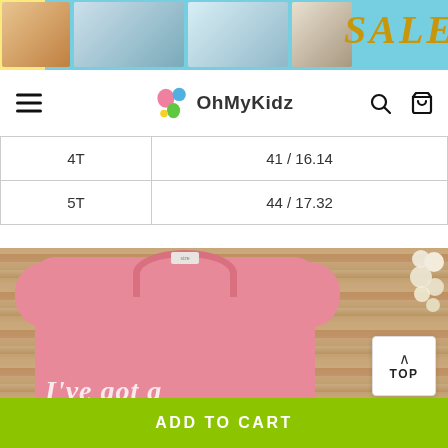[Figure (photo): Sale banner with children photos on blue/yellow background with SALE text in gold]
[Figure (logo): OhMyKidz logo with colorful butterfly/flower icon and brand name, with hamburger menu, search and cart icons]
| 4T | 41 / 16.14 |
| 5T | 44 / 17.32 |
[Figure (photo): Pink children's t-shirt with white letter print 'I've got a...' on wooden background with white flowers]
TOP
ADD TO CART